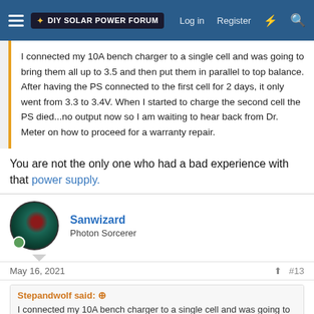DIY Solar Power Forum — Log in  Register
I connected my 10A bench charger to a single cell and was going to bring them all up to 3.5 and then put them in parallel to top balance. After having the PS connected to the first cell for 2 days, it only went from 3.3 to 3.4V. When I started to charge the second cell the PS died...no output now so I am waiting to hear back from Dr. Meter on how to proceed for a warranty repair.
You are not the only one who had a bad experience with that power supply.
Sanwizard
Photon Sorcerer
May 16, 2021  #13
Stepandwolf said:
I connected my 10A bench charger to a single cell and was going to bring them all up to 3.5 and then put them in parallel to top balance. After having the PS connected to the first cell for 2 days, it only went